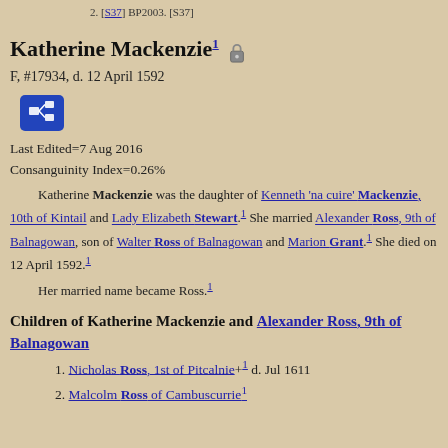2. [S37] BP2003. [S37]
Katherine Mackenzie¹ 🔒
F, #17934, d. 12 April 1592
Last Edited=7 Aug 2016
Consanguinity Index=0.26%
Katherine Mackenzie was the daughter of Kenneth 'na cuire' Mackenzie, 10th of Kintail and Lady Elizabeth Stewart.¹ She married Alexander Ross, 9th of Balnagowan, son of Walter Ross of Balnagowan and Marion Grant.¹ She died on 12 April 1592.¹
Her married name became Ross.¹
Children of Katherine Mackenzie and Alexander Ross, 9th of Balnagowan
1. Nicholas Ross, 1st of Pitcalnie+¹ d. Jul 1611
2. Malcolm Ross of Cambuscurrie¹